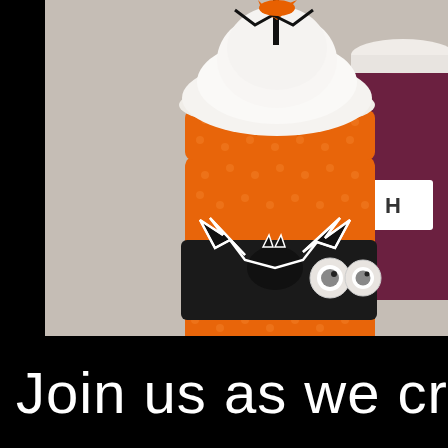[Figure (photo): A Halloween-themed craft photo showing an orange polka-dot disposable cup decorated with a black bat cutout and googly eyes, with a white lid and Halloween decorations on top. A second partially visible cup is on the right. Items are set on a light gray surface against a black background border.]
Join us as we crea